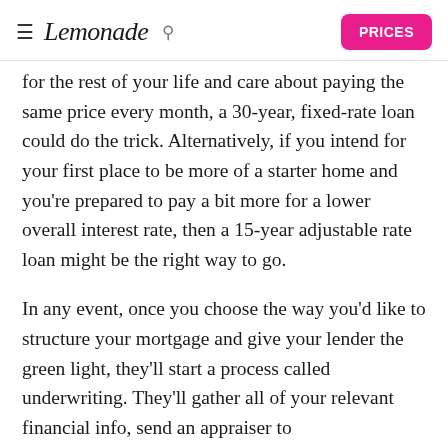Lemonade | PRICES
for the rest of your life and care about paying the same price every month, a 30-year, fixed-rate loan could do the trick. Alternatively, if you intend for your first place to be more of a starter home and you’re prepared to pay a bit more for a lower overall interest rate, then a 15-year adjustable rate loan might be the right way to go.
In any event, once you choose the way you’d like to structure your mortgage and give your lender the green light, they’ll start a process called underwriting. They’ll gather all of your relevant financial info, send an appraiser to